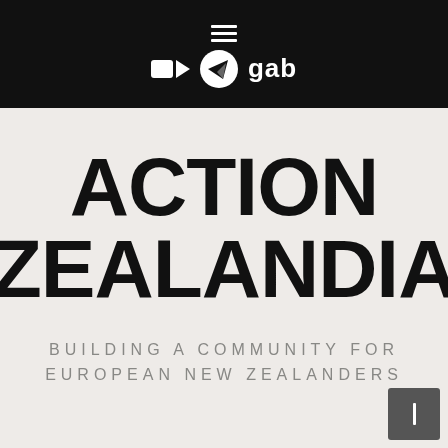[Figure (screenshot): Black header bar with hamburger menu icon, video camera icon, Telegram icon, and 'gab' text in white on black background]
ACTION ZEALANDIA
BUILDING A COMMUNITY FOR EUROPEAN NEW ZEALANDERS